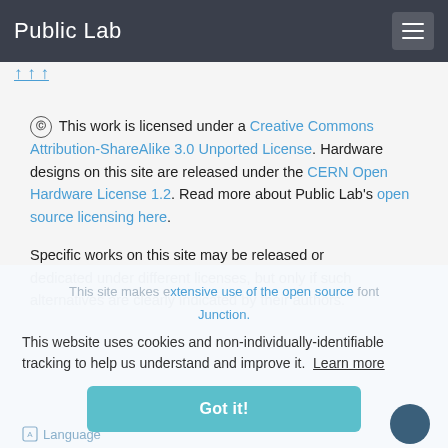Public Lab
This work is licensed under a Creative Commons Attribution-ShareAlike 3.0 Unported License. Hardware designs on this site are released under the CERN Open Hardware License 1.2. Read more about Public Lab's open source licensing here.
Specific works on this site may be released or dedicated under different licenses, but only if such alternatives are clearly indicated by their authors.
This site makes extensive use of the open source font Junction.
This website uses cookies and non-individually-identifiable tracking to help us understand and improve it.  Learn more
Language